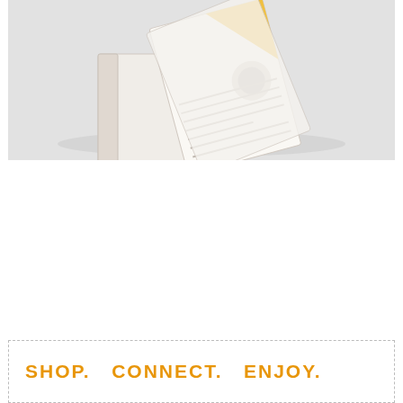[Figure (illustration): Illustrated stack of books/magazines with printed pages fanned out, showing a stylized graphic design with yellow triangle accent, on a light grey background]
SHOP.   CONNECT.   ENJOY.